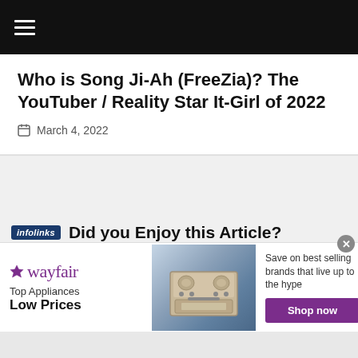☰ (navigation menu)
Who is Song Ji-Ah (FreeZia)? The YouTuber / Reality Star It-Girl of 2022
March 4, 2022
[Figure (screenshot): Gray content area placeholder below article header]
infolinks  Did you Enjoy this Article?
[Figure (infographic): Wayfair advertisement banner: Top Appliances Low Prices, Save on best selling brands that live up to the hype, Shop now button, image of a stove/range appliance]